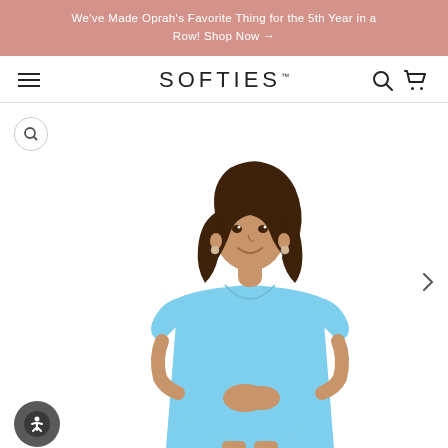We've Made Oprah's Favorite Thing for the 5th Year in a Row! Shop Now →
SOFTIES™
[Figure (photo): Woman wearing a light blue V-neck short-sleeve t-shirt dress, standing against a white background. She has long brown wavy hair and is smiling.]